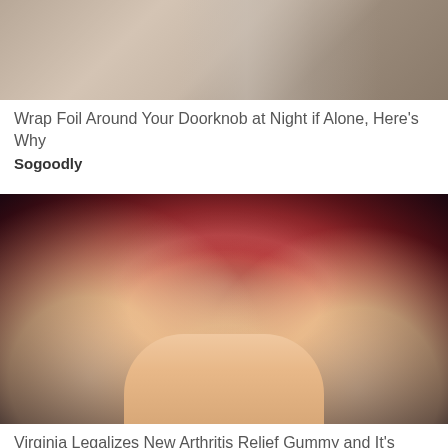[Figure (photo): Close-up photo of a doorknob with metallic/wood background — top portion of an advertisement card]
Wrap Foil Around Your Doorknob at Night if Alone, Here's Why
Sogoodly
[Figure (photo): Close-up photo of fingers holding a red sugary gummy candy ball against a dark background]
Virginia Legalizes New Arthritis Relief Gummy and It's Going Viral
Health Headlines